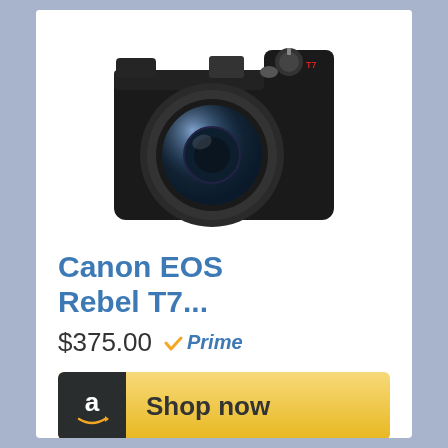[Figure (photo): Black Canon EOS Rebel T7 DSLR camera with lens, viewed from front-left angle]
Canon EOS Rebel T7...
$375.00 ✓Prime
Shop now